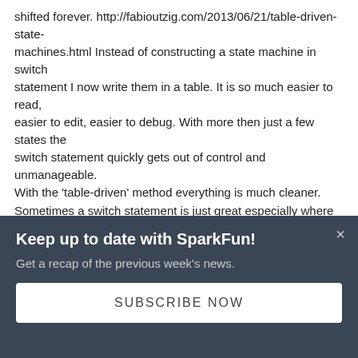shifted forever. http://fabioutzig.com/2013/06/21/table-driven-state-machines.html Instead of constructing a state machine in switch statement I now write them in a table. It is so much easier to read, easier to edit, easier to debug. With more then just a few states the switch statement quickly gets out of control and unmanageable. With the 'table-driven' method everything is much cleaner. Sometimes a switch statement is just great especially where the processing is simple and needs to be very fast, but for more complex application level state machines the 'table-driven' method is king!
SMasci / about 7 years ago * / ★ 1
Table driven state machines are great but to get the most benefit from them you need a state priority function...
Keep up to date with SparkFun!
Get a recap of the previous week's news.
SUBSCRIBE NOW